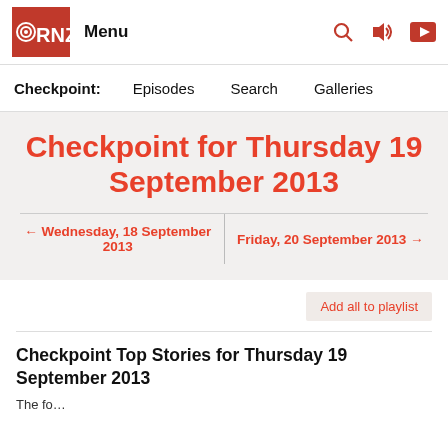RNZ Menu
Checkpoint: Episodes Search Galleries
Checkpoint for Thursday 19 September 2013
← Wednesday, 18 September 2013 | Friday, 20 September 2013 →
Add all to playlist
Checkpoint Top Stories for Thursday 19 September 2013
The fo...